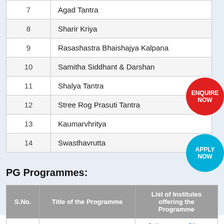| S.No. | Title of the Programme |
| --- | --- |
| 7 | Agad Tantra |
| 8 | Sharir Kriya |
| 9 | Rasashastra Bhaishajya Kalpana |
| 10 | Samitha Siddhant & Darshan |
| 11 | Shalya Tantra |
| 12 | Stree Rog Prasuti Tantra |
| 13 | Kaumarvhritya |
| 14 | Swasthavrutta |
PG Programmes:
| S.No. | Title of the Programme | List of Institutes offering the Programme |
| --- | --- | --- |
| 1 | Doctor of Medicine(Rachna Sharir) | College Of Ayurved Pune |